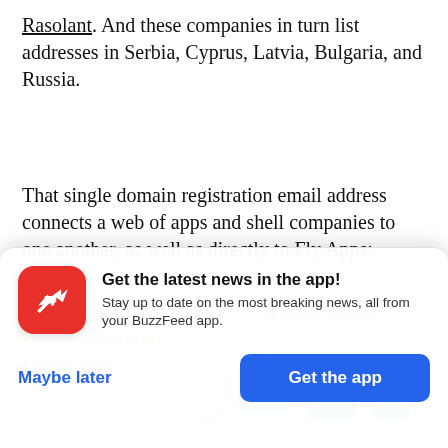Rasolant. And these companies in turn list addresses in Serbia, Cyprus, Latvia, Bulgaria, and Russia.
That single domain registration email address connects a web of apps and shell companies to one another, as well as directly to Fly Apps:
[Figure (network-graph): Partial network graph showing colored nodes and legend items: blue circle labeled 'APP OR WEBSITE', orange circle labeled 'ASSOCIATED COMPANY NAMES ON APP STORE', purple circle labeled 'ASSOCIATED...' (cut off). Teal/cyan square nodes visible on right side.]
[Figure (screenshot): BuzzFeed app install prompt modal. Red circle icon with white arrow. Title: 'Get the latest news in the app!' Body: 'Stay up to date on the most breaking news, all from your BuzzFeed app.' Buttons: 'Maybe later' (blue text) and 'Get the app' (blue filled button).]